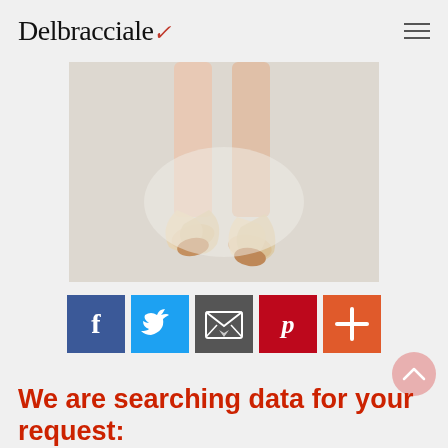Delbracciale
[Figure (photo): Close-up of a ballet dancer's legs and feet in pointe shoes with satin ribbons, light background]
[Figure (infographic): Social share buttons: Facebook (blue), Twitter (light blue), Email (dark gray), Pinterest (red), More/Plus (orange-red)]
We are searching data for your request: